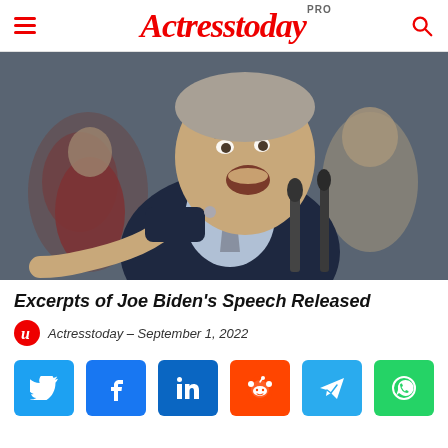Actresstoday PRO
[Figure (photo): Joe Biden speaking animatedly at a podium with microphones, pointing forward, wearing a dark suit with striped tie, crowd visible in background]
Excerpts of Joe Biden's Speech Released
Actresstoday – September 1, 2022
[Figure (infographic): Social media share buttons: Twitter (blue), Facebook (dark blue), LinkedIn (dark blue), Reddit (orange), Telegram (light blue), WhatsApp (green)]